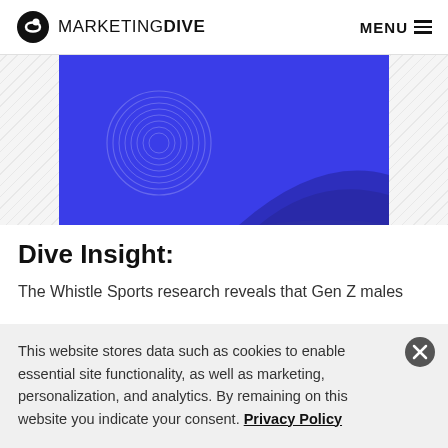MARKETING DIVE  MENU
[Figure (illustration): Blue abstract banner image with decorative wavy circle and dark blue curved shape on blue background, with diagonal striped grey side margins]
Dive Insight:
The Whistle Sports research reveals that Gen Z males
This website stores data such as cookies to enable essential site functionality, as well as marketing, personalization, and analytics. By remaining on this website you indicate your consent. Privacy Policy